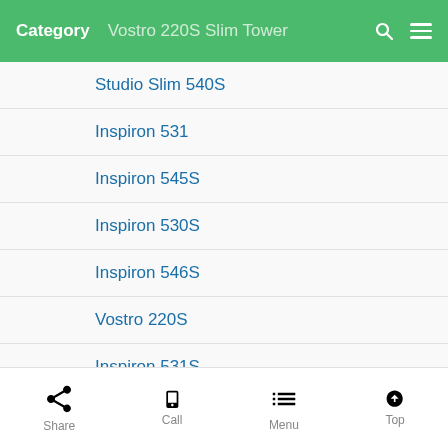Category  Vostro 220S Slim Tower
Studio Slim 540S
Inspiron 531
Inspiron 545S
Inspiron 530S
Inspiron 546S
Vostro 220S
Inspiron 531S
Vostro 200
EPSON
Endeavor AY321S(+24P
Share  Call  Menu  Top